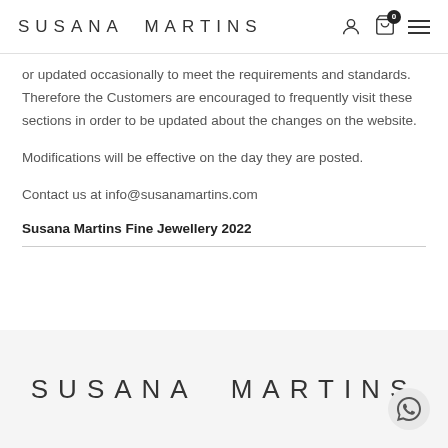SUSANA MARTINS
or updated occasionally to meet the requirements and standards. Therefore the Customers are encouraged to frequently visit these sections in order to be updated about the changes on the website.
Modifications will be effective on the day they are posted.
Contact us at info@susanamartins.com
Susana Martins Fine Jewellery 2022
SUSANA MARTINS